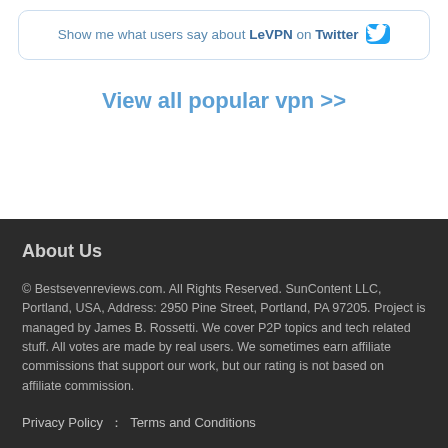Show me what users say about LeVPN on Twitter
View all popular vpn >>
About Us
© Bestsevenreviews.com. All Rights Reserved. SunContent LLC, Portland, USA, Address: 2950 Pine Street, Portland, PA 97205. Project is managed by James B. Rossetti. We cover P2P topics and tech related stuff. All votes are made by real users. We sometimes earn affiliate commissions that support our work, but our rating is not based on affiliate commission.
Privacy Policy  ·  Terms and Conditions